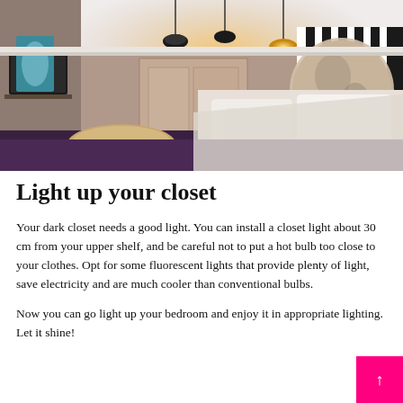[Figure (photo): Interior bedroom photo showing pendant lights hanging from a white ceiling, a bed with white pillows and dark purple bedding, taupe walls, a mounted TV, decorative artwork, and a black-and-white striped headboard panel. Warm golden lighting from the pendant lamps illuminates the room.]
Light up your closet
Your dark closet needs a good light. You can install a closet light about 30 cm from your upper shelf, and be careful not to put a hot bulb too close to your clothes. Opt for some fluorescent lights that provide plenty of light, save electricity and are much cooler than conventional bulbs.
Now you can go light up your bedroom and enjoy it in appropriate lighting. Let it shine!